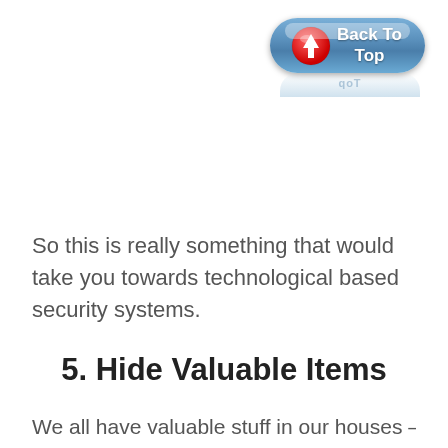[Figure (illustration): A blue rounded-rectangle button labeled 'Back To Top' with a red circle containing a white upward arrow icon on the left, and a reflection of the button below it.]
So this is really something that would take you towards technological based security systems.
5. Hide Valuable Items
We all have valuable stuff in our houses – some things of